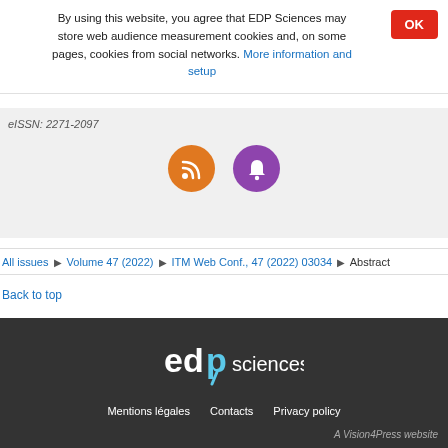By using this website, you agree that EDP Sciences may store web audience measurement cookies and, on some pages, cookies from social networks. More information and setup
eISSN: 2271-2097
[Figure (other): RSS feed orange circle icon and purple notification bell circle icon]
All issues ▶ Volume 47 (2022) ▶ ITM Web Conf., 47 (2022) 03034 ▶ Abstract
Back to top
[Figure (logo): EDP Sciences logo in white on dark background]
Mentions légales   Contacts   Privacy policy
A Vision4Press website